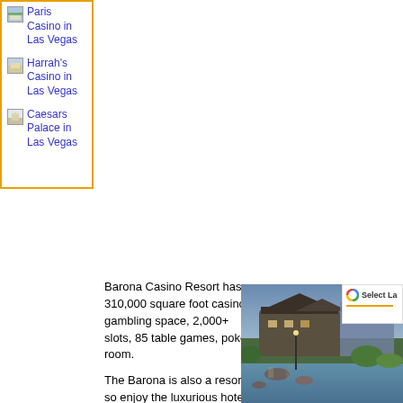Paris Casino in Las Vegas
Harrah's Casino in Las Vegas
Caesars Palace in Las Vegas
Barona Resort Casino - Lakeside - California
Barona Casino Resort has a 310,000 square foot casino gambling space, 2,000+ slots, 85 table games, poker room.
The Barona is also a resort, so enjoy the luxurious hotel rooms, relaxing spa treatments, the sun and refreshing pool or play a challenging round of golf at the Barona Creek Golf Club.
[Figure (photo): Photo of Barona Resort Casino exterior with pond and landscaping at dusk]
[Figure (screenshot): Google widget partial showing 'Select La' text with orange underline bar]